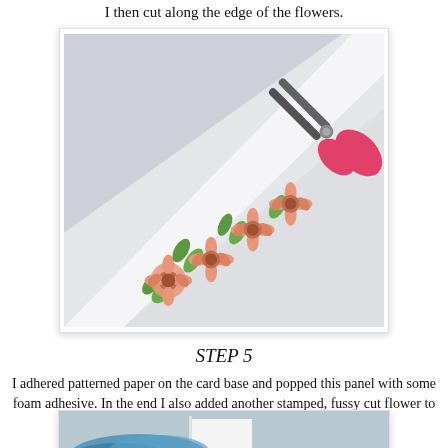I then cut along the edge of the flowers.
[Figure (photo): A photo showing a card with stamped and colored flowers being cut with pink-handled scissors on a white surface.]
STEP 5
I adhered patterned paper on the card base and popped this panel with some foam adhesive. In the end I also added another stamped, fussy cut flower to add interest.
[Figure (photo): Partial photo showing blue cardmaking materials on a white card base.]